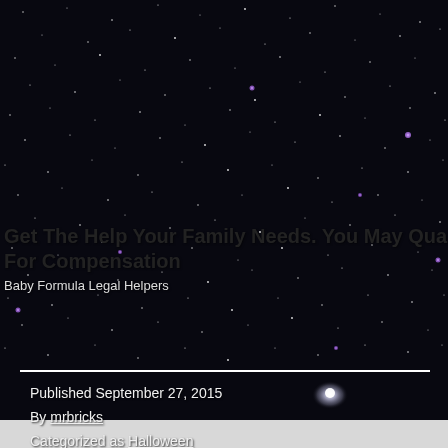[Figure (photo): Night sky photograph with stars and a bright galaxy, dark background with scattered white and purple stars]
Get The Help Your Family Needs. You May Qualify For Compensation
Baby Formula Legal Helpers
Published September 27, 2015
By mrbricks
Categorized as Halloween
Tagged The History Of Pumpkin Carving